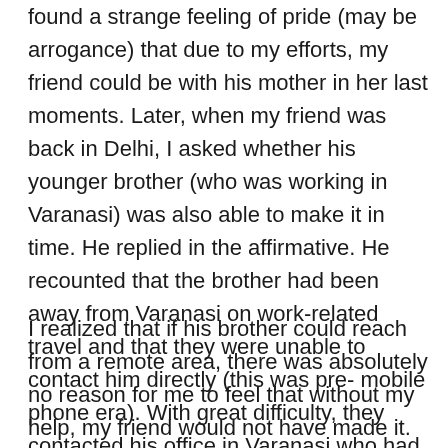found a strange feeling of pride (may be arrogance) that due to my efforts, my friend could be with his mother in her last moments. Later, when my friend was back in Delhi, I asked whether his younger brother (who was working in Varanasi) was also able to make it in time. He replied in the affirmative. He recounted that the brother had been away from Varanasi on work-related travel and that they were unable to contact him directly (this was pre- mobile phone era). With great difficulty, they contacted his office in Varanasi who had sent someone to locate him. He then took a passing train and travelled unreserved but was finally able to reach Kolkata in time to be by his mother's side in her final moments.
I realized that if his brother could reach from a remote area, there was absolutely no reason for me to feel that without my help, my friend would not have made it.